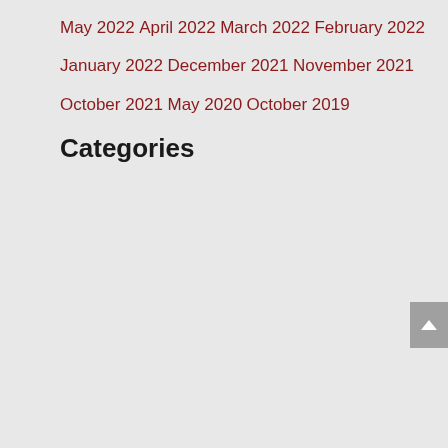May 2022
April 2022
March 2022
February 2022
January 2022
December 2021
November 2021
October 2021
May 2020
October 2019
Categories